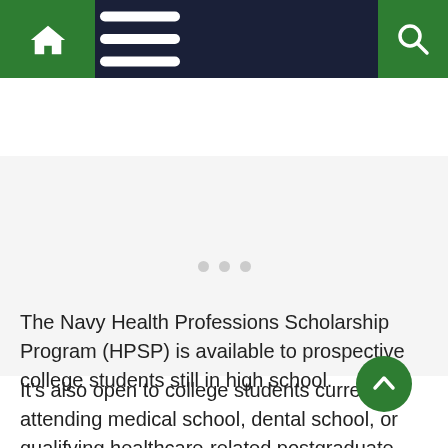Navigation bar with home, menu, and search icons
[Figure (screenshot): Image carousel area with three dot indicators showing a mostly blank/white slide area]
The Navy Health Professions Scholarship Program (HPSP) is available to prospective college students still in high school.
It's also open to college students currently attending medical school, dental school, or qualifying healthcare-related postgraduate programs.